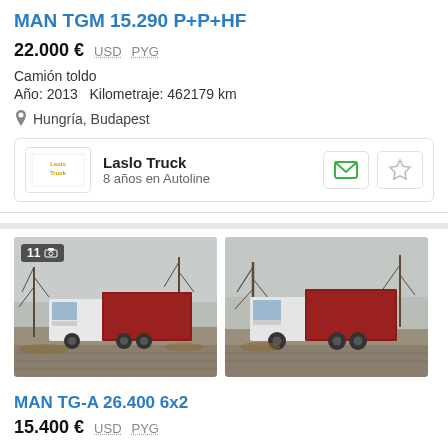MAN TGM 15.290 P+P+HF
22.000 € USD PYG
Camión toldo
Año: 2013  Kilometraje: 462179 km
Hungría, Budapest
Laslo Truck
8 años en Autoline
[Figure (photo): MAN TGM truck with red tarpaulin body parked in a lot, winter trees in background, badge showing 11 photos]
[Figure (photo): MAN TGM truck with red tarpaulin body parked in a lot, winter trees in background, second view]
MAN TG-A 26.400 6x2
15.400 € USD PYG